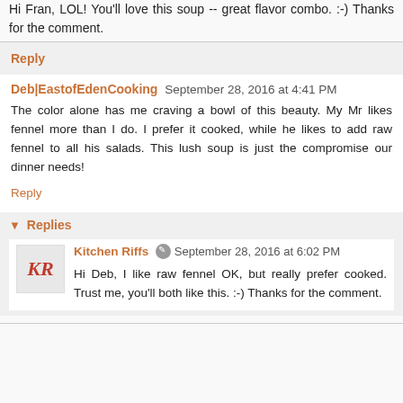Hi Fran, LOL! You'll love this soup -- great flavor combo. :-) Thanks for the comment.
Reply
Deb|EastofEdenCooking  September 28, 2016 at 4:41 PM
The color alone has me craving a bowl of this beauty. My Mr likes fennel more than I do. I prefer it cooked, while he likes to add raw fennel to all his salads. This lush soup is just the compromise our dinner needs!
Reply
Replies
Kitchen Riffs  September 28, 2016 at 6:02 PM
Hi Deb, I like raw fennel OK, but really prefer cooked. Trust me, you'll both like this. :-) Thanks for the comment.